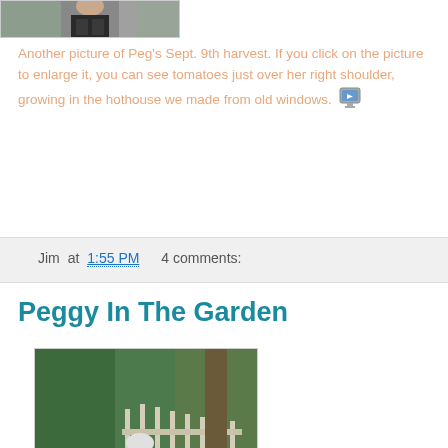[Figure (photo): Top cropped photo of a person, partially visible]
Another picture of Peg's Sept. 9th harvest. If you click on the picture to enlarge it, you can see tomatoes just over her right shoulder, growing in the hothouse we made from old windows.
Jim at 1:55 PM    4 comments:
Peggy In The Garden
[Figure (photo): Peggy standing in a lush garden with a white picket fence, harvesting vegetables]
Peggy harvesting squash and eggplant in the garden on September 9th, 2004. Note the handplow leaning on the